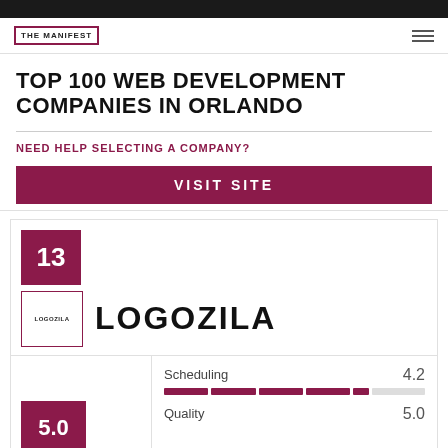THE MANIFEST
TOP 100 WEB DEVELOPMENT COMPANIES IN ORLANDO
NEED HELP SELECTING A COMPANY?
VISIT SITE
13
[Figure (logo): Logozila company logo in a box with magenta border]
LOGOZILA
| Metric | Score |
| --- | --- |
| Scheduling | 4.2 |
| Quality | 5.0 |
5.0